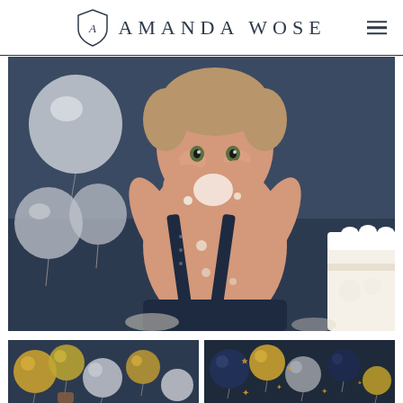AMANDA WOSE
[Figure (photo): A baby boy sitting shirtless, wearing navy blue suspenders with white dots, eating cake with both hands raised to his mouth. White frosting and cake crumbs are visible on his chest and hands. Silver/white balloons are visible on the left side, and a white cake is partially visible on the right. Dark navy blue background.]
[Figure (photo): Partial thumbnail image showing gold, silver/grey, and white balloons arranged in a garland on a dark navy blue background. A small prop is visible at the bottom.]
[Figure (photo): Partial thumbnail image showing navy blue, gold/yellow, and grey balloons with star-shaped string lights on a dark navy blue background.]